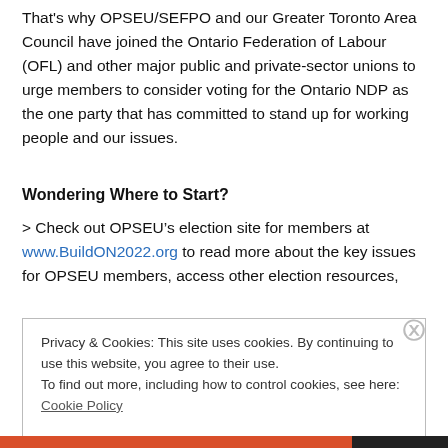That's why OPSEU/SEFPO and our Greater Toronto Area Council have joined the Ontario Federation of Labour (OFL) and other major public and private-sector unions to urge members to consider voting for the Ontario NDP as the one party that has committed to stand up for working people and our issues.
Wondering Where to Start?
> Check out OPSEU’s election site for members at www.BuildON2022.org to read more about the key issues for OPSEU members, access other election resources,
Privacy & Cookies: This site uses cookies. By continuing to use this website, you agree to their use.
To find out more, including how to control cookies, see here: Cookie Policy
Close and accept